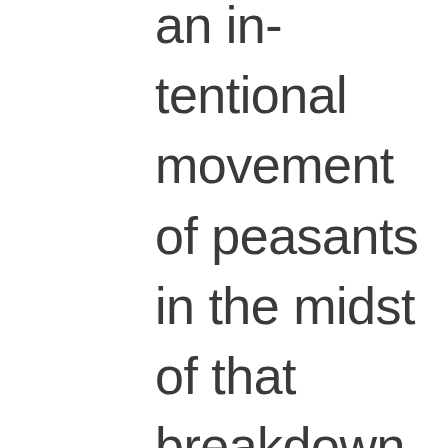an intentional movement of peasants in the midst of that breakdown. Alternatively, the tribal system of early Israel may